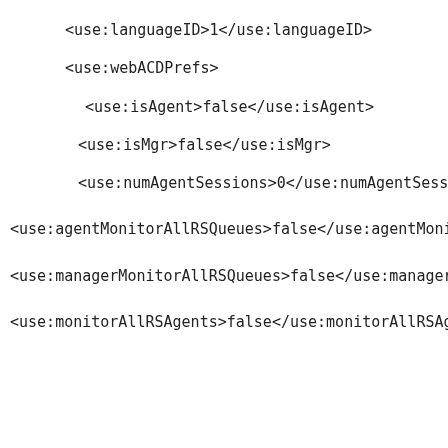<use:languageID>1</use:languageID>
<use:webACDPrefs>
<use:isAgent>false</use:isAgent>
<use:isMgr>false</use:isMgr>
<use:numAgentSessions>0</use:numAgentSessions>
<use:agentMonitorAllRSQueues>false</use:agentMonitorAllRSQueues>
<use:managerMonitorAllRSQueues>false</use:managerMonitorAllRSQueues>
<use:monitorAllRSAgents>false</use:monitorAllRSAgents>